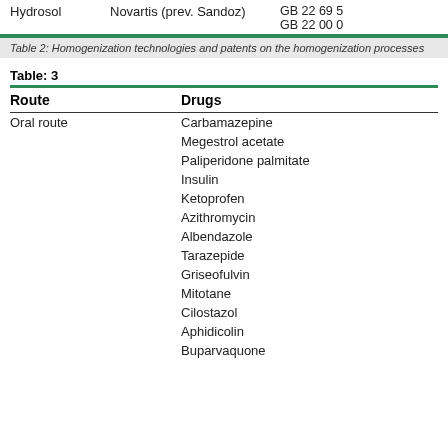Hydrosol    Novartis (prev. Sandoz)    GB 22 69 5    GB 22 00 0
Table 2: Homogenization technologies and patents on the homogenization processes
Table: 3
| Route | Drugs |
| --- | --- |
| Oral route | Carbamazepine |
|  | Megestrol acetate |
|  | Paliperidone palmitate |
|  | Insulin |
|  | Ketoprofen |
|  | Azithromycin |
|  | Albendazole |
|  | Tarazepide |
|  | Griseofulvin |
|  | Mitotane |
|  | Cilostazol |
|  | Aphidicolin |
|  | Buparvaquone |